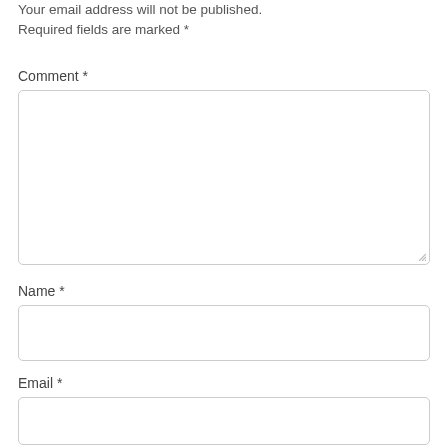Your email address will not be published. Required fields are marked *
Comment *
Name *
Email *